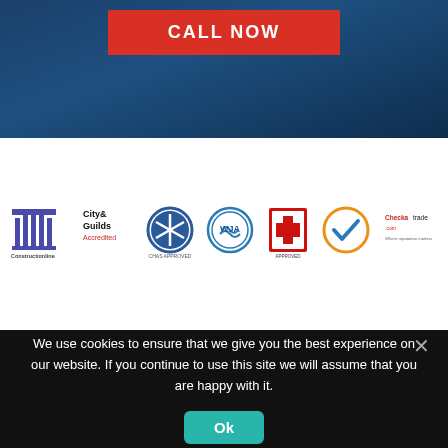[Figure (other): CALL NOW red button on dark blue hero background]
[Figure (other): Row of accreditation logos: Constructionline, City & Guilds Accredited, CHAS Approved, WJA, Trading Standards Approved, checkmark badge, Checkatrade.com]
WE ARE EXPERTS IN GREASE TRAP CLEANING, DISPOSAL & INSTALLATIONS
We use cookies to ensure that we give you the best experience on our website. If you continue to use this site we will assume that you are happy with it.